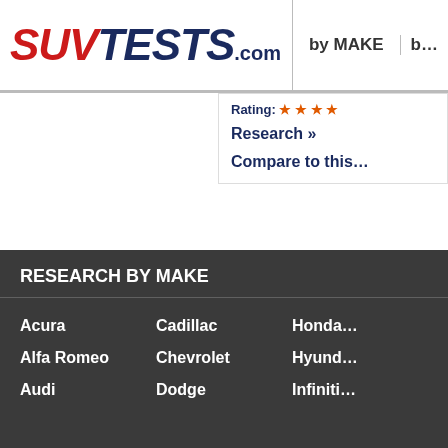SUVTESTS.com | by MAKE | by...
Rating: ...
Research »
Compare to this...
RELATED LINKS
2017 Dodge Dura...
2017 Dodge Dura...
2017 Dodge Dura...
MODEL YEARS: 20...
RESEARCH by MAKE
Acura
Cadillac
Honda...
Alfa Romeo
Chevrolet
Hyund...
Audi
Dodge
Infiniti...